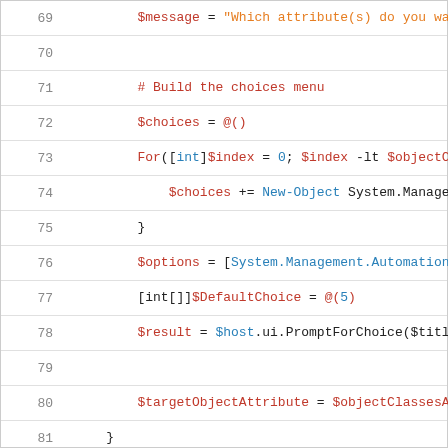[Figure (screenshot): Code snippet showing PowerShell script lines 69-87 with syntax highlighting. Line numbers on left, code on right with red, blue, and dark colored tokens.]